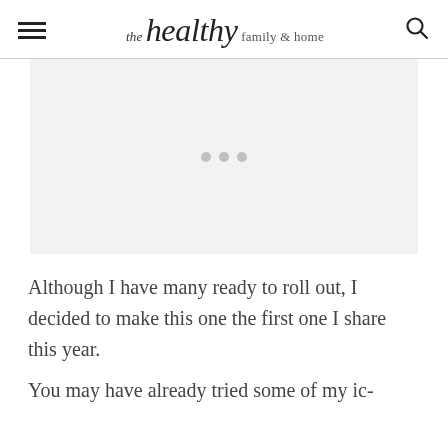the healthy family & home
[Figure (other): Advertisement placeholder with three gray dots]
Although I have many ready to roll out, I decided to make this one the first one I share this year.
You may have already tried some of my ic-